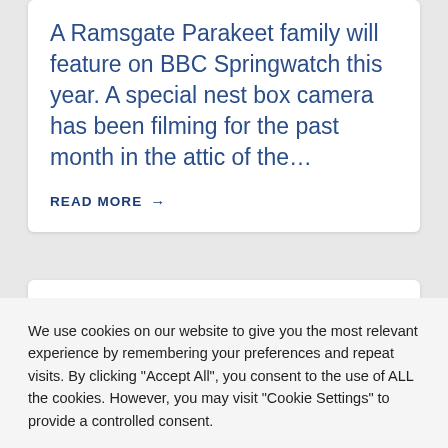A Ramsgate Parakeet family will feature on BBC Springwatch this year. A special nest box camera has been filming for the past month in the attic of the…
READ MORE →
We use cookies on our website to give you the most relevant experience by remembering your preferences and repeat visits. By clicking "Accept All", you consent to the use of ALL the cookies. However, you may visit "Cookie Settings" to provide a controlled consent.